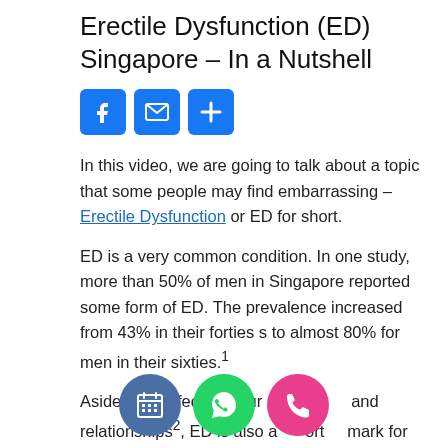Erectile Dysfunction (ED) Singapore – In a Nutshell
[Figure (infographic): Three social sharing icon buttons: Facebook (blue), Email (blue), Share/Plus (blue)]
In this video, we are going to talk about a topic that some people may find embarrassing – Erectile Dysfunction or ED for short.
ED is a very common condition. In one study, more than 50% of men in Singapore reported some form of ED. The prevalence increased from 43% in their forties s to almost 80% for men in their sixties.¹
Aside from affecting your quality and relationships², ED is also a important marker for general health. ED could be the first sign of